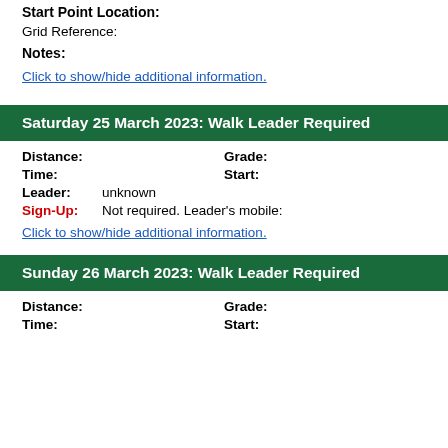Start Point Location:
Grid Reference:
Notes:
Click to show/hide additional information.
Saturday 25 March 2023: Walk Leader Required
Distance:   Grade:
Time:   Start:
Leader: unknown
Sign-Up: Not required. Leader's mobile:
Click to show/hide additional information.
Sunday 26 March 2023: Walk Leader Required
Distance:   Grade:
Time:   Start: